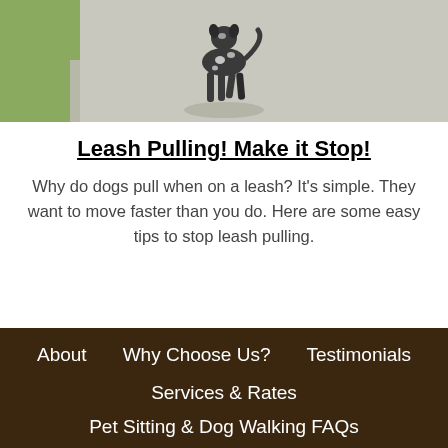[Figure (photo): A dog walking on a sidewalk/pavement, photographed from above, black and white spotted coat, green grass visible in background.]
Leash Pulling! Make it Stop!
Why do dogs pull when on a leash? It's simple. They want to move faster than you do. Here are some easy tips to stop leash pulling.
About   Why Choose Us?   Testimonials   Services & Rates   Pet Sitting & Dog Walking FAQs